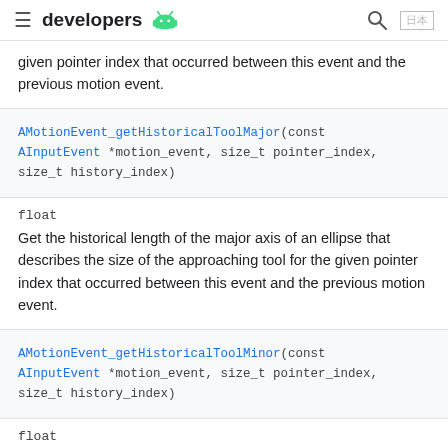developers (Android logo)
given pointer index that occurred between this event and the previous motion event.
AMotionEvent_getHistoricalToolMajor(const AInputEvent *motion_event, size_t pointer_index, size_t history_index)
float
Get the historical length of the major axis of an ellipse that describes the size of the approaching tool for the given pointer index that occurred between this event and the previous motion event.
AMotionEvent_getHistoricalToolMinor(const AInputEvent *motion_event, size_t pointer_index, size_t history_index)
float